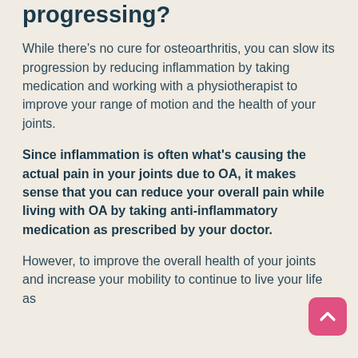progressing?
While there's no cure for osteoarthritis, you can slow its progression by reducing inflammation by taking medication and working with a physiotherapist to improve your range of motion and the health of your joints.
Since inflammation is often what's causing the actual pain in your joints due to OA, it makes sense that you can reduce your overall pain while living with OA by taking anti-inflammatory medication as prescribed by your doctor.
However, to improve the overall health of your joints and increase your mobility to continue to live your life as